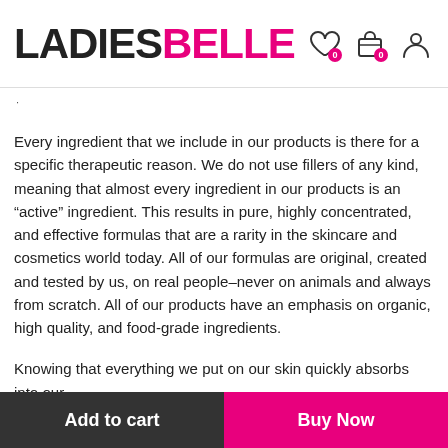LADIESBELLE
Every ingredient that we include in our products is there for a specific therapeutic reason. We do not use fillers of any kind, meaning that almost every ingredient in our products is an “active” ingredient. This results in pure, highly concentrated, and effective formulas that are a rarity in the skincare and cosmetics world today. All of our formulas are original, created and tested by us, on real people–never on animals and always from scratch. All of our products have an emphasis on organic, high quality, and food-grade ingredients.
Knowing that everything we put on our skin quickly absorbs into our
Add to cart  Buy Now